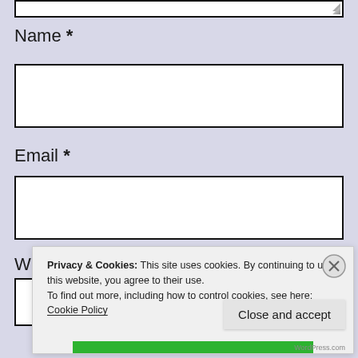[Figure (screenshot): Top portion of a textarea input box (white, black border) partially visible at top of page]
Name *
[Figure (screenshot): Empty white text input box for Name field]
Email *
[Figure (screenshot): Empty white text input box for Email field]
W
Privacy & Cookies: This site uses cookies. By continuing to use this website, you agree to their use.
To find out more, including how to control cookies, see here: Cookie Policy
Close and accept